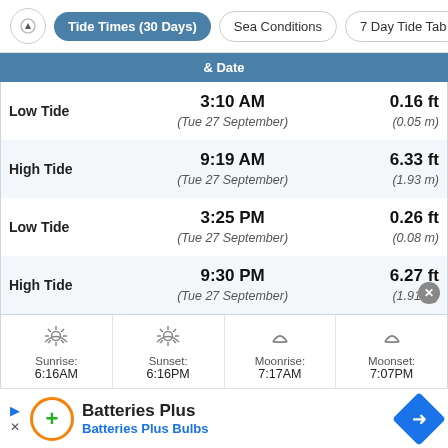Tide Times (30 Days) | Sea Conditions | 7 Day Tide Tab
|  | & Date |  |
| --- | --- | --- |
| Low Tide | 3:10 AM
(Tue 27 September) | 0.16 ft
(0.05 m) |
| High Tide | 9:19 AM
(Tue 27 September) | 6.33 ft
(1.93 m) |
| Low Tide | 3:25 PM
(Tue 27 September) | 0.26 ft
(0.08 m) |
| High Tide | 9:30 PM
(Tue 27 September) | 6.27 ft
(1.91 m) |
Sunrise: 6:16AM | Sunset: 6:16PM | Moonrise: 7:17AM | Moonset: 7:07PM
[Figure (infographic): Advertisement for Batteries Plus / Batteries Plus Bulbs]